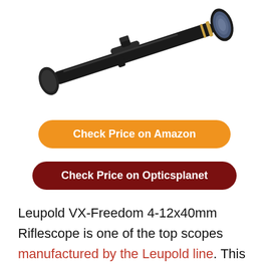[Figure (photo): A rifle scope (Leupold VX-Freedom 4-12x40mm) shown diagonally against a white background. The scope is black with gold/tan accent rings near the objective lens end.]
Check Price on Amazon
Check Price on Opticsplanet
Leupold VX-Freedom 4-12x40mm Riflescope is one of the top scopes manufactured by the Leupold line. This is